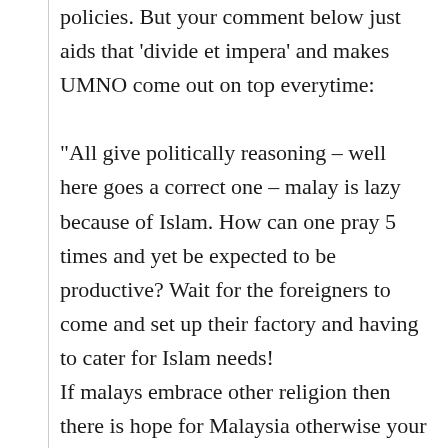policies. But your comment below just aids that 'divide et impera' and makes UMNO come out on top everytime:

"All give politically reasoning – well here goes a correct one – malay is lazy because of Islam. How can one pray 5 times and yet be expected to be productive? Wait for the foreigners to come and set up their factory and having to cater for Islam needs! If malays embrace other religion then there is hope for Malaysia otherwise your hope is in the